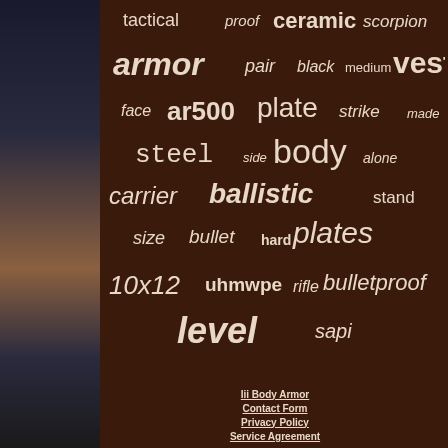[Figure (infographic): Word cloud about body armor and tactical equipment on dark brown background. Words include: tactical, proof, ceramic, scorpion, armor, pair, black, medium, vest, face, ar500, plate, strike, made, steel, side, body, alone, carrier, ballistic, stand, size, bullet, hard, plates, 10x12, uhmwpe, rifle, bulletproof, level, sapi]
Iii Body Armor
Contact Form
Privacy Policy
Service Agreement